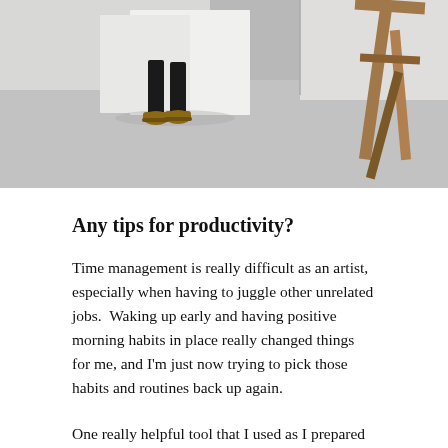[Figure (photo): Photo of an artist studio floor with boots/feet visible and a wooden easel on the right, taken from above/mid-level. Grey concrete floor, white panels in background.]
Any tips for productivity?
Time management is really difficult as an artist, especially when having to juggle other unrelated jobs.  Waking up early and having positive morning habits in place really changed things for me, and I'm just now trying to pick those habits and routines back up again.
One really helpful tool that I used as I prepared for a show earlier this year was a calendar that I had posted to my studio door.  Every day that I